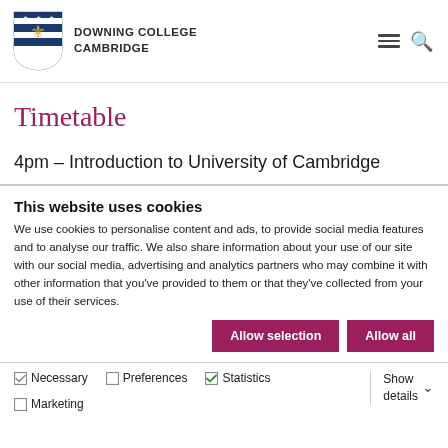DOWNING COLLEGE CAMBRIDGE
Timetable
4pm – Introduction to University of Cambridge
This website uses cookies
We use cookies to personalise content and ads, to provide social media features and to analyse our traffic. We also share information about your use of our site with our social media, advertising and analytics partners who may combine it with other information that you've provided to them or that they've collected from your use of their services.
Allow selection | Allow all
Necessary  Preferences  Statistics  Marketing  Show details